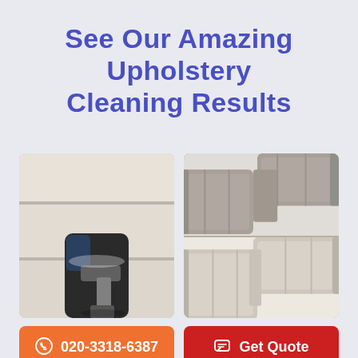See Our Amazing Upholstery Cleaning Results
[Figure (photo): Person using upholstery steam cleaning tool on light-colored sofa cushions]
[Figure (photo): Before and after photos of a gray sectional sofa (top) and a beige/cream sectional sofa (bottom)]
020-3318-6387
Get Quote